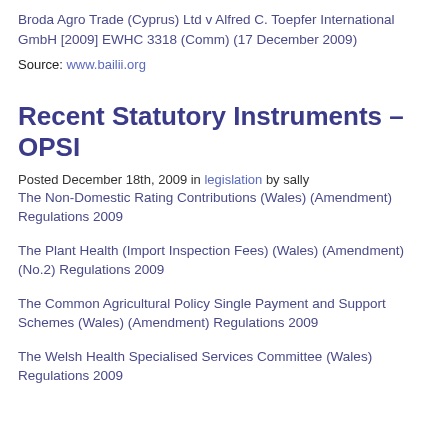Broda Agro Trade (Cyprus) Ltd v Alfred C. Toepfer International GmbH [2009] EWHC 3318 (Comm) (17 December 2009)
Source: www.bailii.org
Recent Statutory Instruments – OPSI
Posted December 18th, 2009 in legislation by sally
The Non-Domestic Rating Contributions (Wales) (Amendment) Regulations 2009
The Plant Health (Import Inspection Fees) (Wales) (Amendment) (No.2) Regulations 2009
The Common Agricultural Policy Single Payment and Support Schemes (Wales) (Amendment) Regulations 2009
The Welsh Health Specialised Services Committee (Wales) Regulations 2009